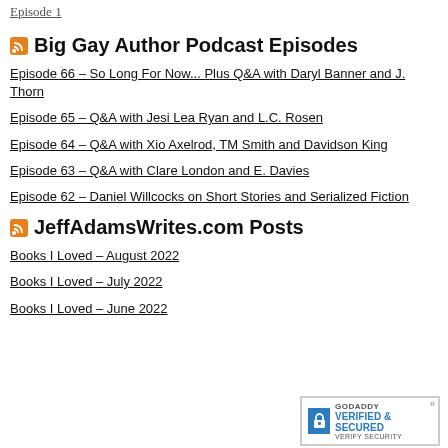Episode 1
Big Gay Author Podcast Episodes
Episode 66 – So Long For Now... Plus Q&A with Daryl Banner and J. Thorn
Episode 65 – Q&A with Jesi Lea Ryan and L.C. Rosen
Episode 64 – Q&A with Xio Axelrod, TM Smith and Davidson King
Episode 63 – Q&A with Clare London and E. Davies
Episode 62 – Daniel Willcocks on Short Stories and Serialized Fiction
JeffAdamsWrites.com Posts
Books I Loved – August 2022
Books I Loved – July 2022
Books I Loved – June 2022
[Figure (logo): GoDaddy Verified & Secured badge]